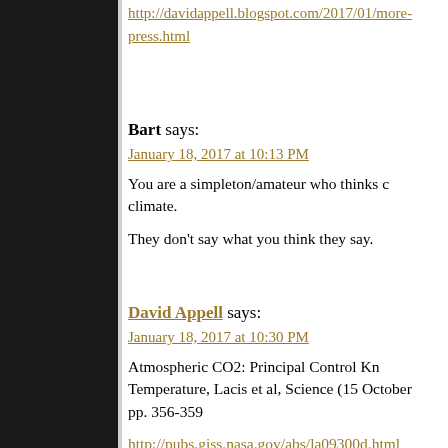http://davidappell.blogspot.com/2017/01/more-press.html
Bart says:
January 18, 2017 at 10:13 PM
You are a simpleton/amateur who thinks climate.
They don't say what you think they say.
David Appell says:
January 18, 2017 at 10:30 PM
Atmospheric CO2: Principal Control Kn Temperature, Lacis et al, Science (15 October pp. 356-359
http://pubs.giss.nasa.gov/abs/la09300d.html